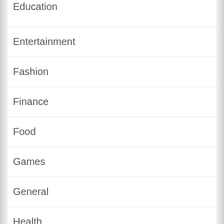Education
Entertainment
Fashion
Finance
Food
Games
General
Health
Home
Home Improvement